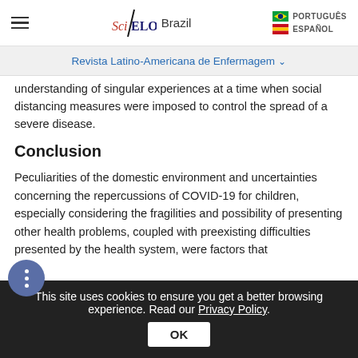SciELO Brazil | PORTUGUÊS | ESPAÑOL
Revista Latino-Americana de Enfermagem
understanding of singular experiences at a time when social distancing measures were imposed to control the spread of a severe disease.
Conclusion
Peculiarities of the domestic environment and uncertainties concerning the repercussions of COVID-19 for children, especially considering the fragilities and possibility of presenting other health problems, coupled with preexisting difficulties presented by the health system, were factors that
This site uses cookies to ensure you get a better browsing experience. Read our Privacy Policy.